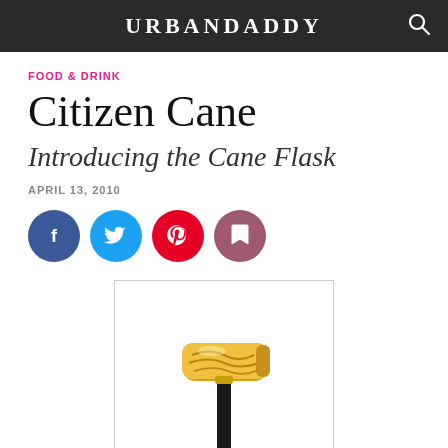URBANDADDY
FOOD & DRINK
Citizen Cane
Introducing the Cane Flask
APRIL 13, 2010
[Figure (infographic): Social sharing icons: Facebook, Twitter, Pinterest, Bookmark]
[Figure (photo): A gold ornate cane handle with a black shaft — the Cane Flask product photo]